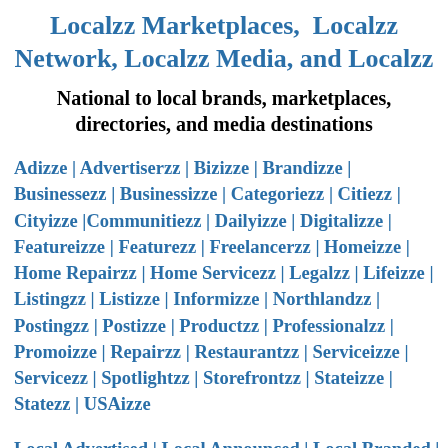Localzz Marketplaces, Localzz Network, Localzz Media, and Localzz
National to local brands, marketplaces, directories, and media destinations
Adizze | Advertiserzz | Bizizze | Brandizze | Businessezz | Businessizze | Categoriezz | Citiezz | Cityizze |Communitiezz | Dailyizze | Digitalizze | Featureizze | Featurezz | Freelancerzz | Homeizze | Home Repairzz | Home Servicezz | Legalzz | Lifeizze | Listingzz | Listizze | Informizze | Northlandzz | Postingzz | Postizze | Productzz | Professionalzz | Promoizze | Repairzz | Restaurantzz | Serviceizze | Servicezz | Spotlightzz | Storefrontzz | Stateizze | Statezz | USAizze
Local Advertised | Local Announced | Local Branded | Local Browsed | Local Bundled | Local Categories | Local